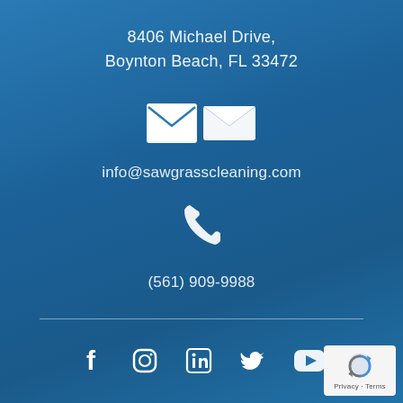8406 Michael Drive,
Boynton Beach, FL 33472
[Figure (infographic): White envelope icon]
info@sawgrasscleaning.com
[Figure (infographic): White phone/telephone icon]
(561) 909-9988
[Figure (infographic): Social media icons row: Facebook, Instagram, LinkedIn, Twitter/X, YouTube]
[Figure (logo): reCAPTCHA badge with Privacy - Terms text]